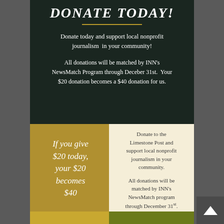DONATE TODAY!
Donate today and support local nonprofit journalism  in your community!
All donations will be matched by INN's NewsMatch Program through Deceber 31st.  Your $20 donation becomes a $40 donation for us.
If you give $20 today, your $20 becomes $40
Donate to the Limestone Post and support local nonprofit journalism in your community.

All donations will be matched by INN's NewsMatch program through December 31st.